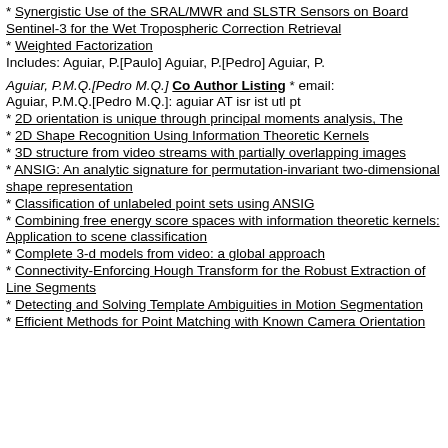* Synergistic Use of the SRAL/MWR and SLSTR Sensors on Board Sentinel-3 for the Wet Tropospheric Correction Retrieval
* Weighted Factorization
Includes: Aguiar, P.[Paulo] Aguiar, P.[Pedro] Aguiar, P.
Aguiar, P.M.Q.[Pedro M.Q.] Co Author Listing * email: Aguiar, P.M.Q.[Pedro M.Q.]: aguiar AT isr ist utl pt
* 2D orientation is unique through principal moments analysis, The
* 2D Shape Recognition Using Information Theoretic Kernels
* 3D structure from video streams with partially overlapping images
* ANSIG: An analytic signature for permutation-invariant two-dimensional shape representation
* Classification of unlabeled point sets using ANSIG
* Combining free energy score spaces with information theoretic kernels: Application to scene classification
* Complete 3-d models from video: a global approach
* Connectivity-Enforcing Hough Transform for the Robust Extraction of Line Segments
* Detecting and Solving Template Ambiguities in Motion Segmentation
* Efficient Methods for Point Matching with Known Camera Orientation